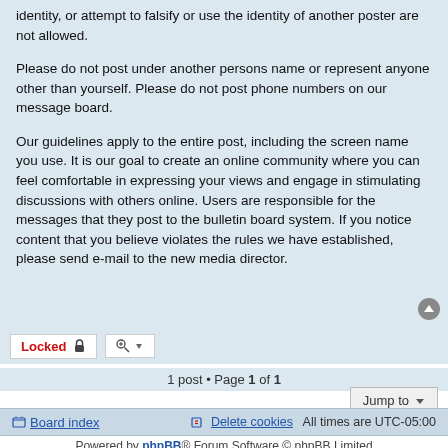identity, or attempt to falsify or use the identity of another poster are not allowed.
Please do not post under another persons name or represent anyone other than yourself. Please do not post phone numbers on our message board.
Our guidelines apply to the entire post, including the screen name you use. It is our goal to create an online community where you can feel comfortable in expressing your views and engage in stimulating discussions with others online. Users are responsible for the messages that they post to the bulletin board system. If you notice content that you believe violates the rules we have established, please send e-mail to the new media director.
1 post • Page 1 of 1
Board index | Delete cookies | All times are UTC-05:00
Powered by phpBB® Forum Software © phpBB Limited | Privacy | Terms